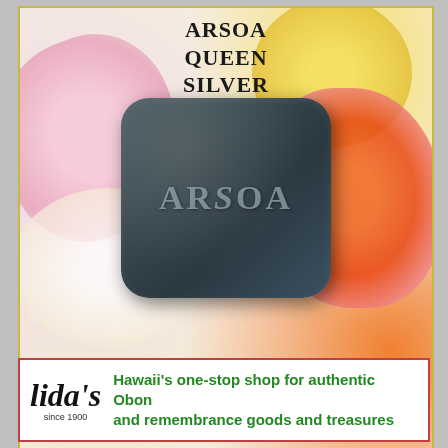[Figure (photo): ARSOA Queen Silver soap bar advertisement with floral background showing white, yellow and orange flowers. Dark gray/teal square soap bar with ARSOA logo embossed on it.]
ARSOA
QUEEN
SILVER
ARSOA COSMETICS    Tel: (808) 944-8968
E-mail: arsoa@hawaii.rr.com
Call for free samples
[Figure (logo): Lida's script logo with 'Since 1900' text below]
Hawaii's one-stop shop for authentic Obon and remembrance goods and treasures